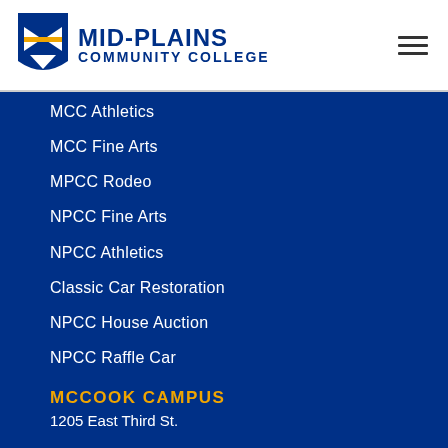[Figure (logo): Mid-Plains Community College logo with shield icon and text MID-PLAINS COMMUNITY COLLEGE]
MCC Athletics
MCC Fine Arts
MPCC Rodeo
NPCC Fine Arts
NPCC Athletics
Classic Car Restoration
NPCC House Auction
NPCC Raffle Car
MCCOOK CAMPUS
1205 East Third St.